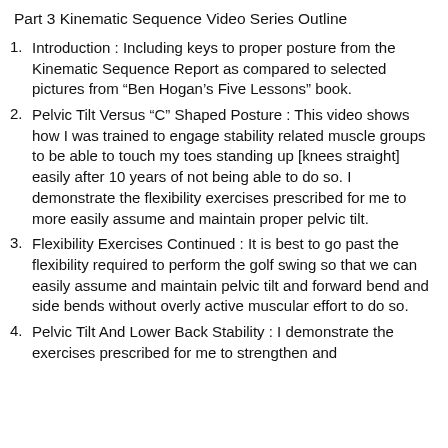Part 3 Kinematic Sequence Video Series Outline
Introduction : Including keys to proper posture from the Kinematic Sequence Report as compared to selected pictures from “Ben Hogan’s Five Lessons” book.
Pelvic Tilt Versus “C” Shaped Posture : This video shows how I was trained to engage stability related muscle groups to be able to touch my toes standing up [knees straight] easily after 10 years of not being able to do so. I demonstrate the flexibility exercises prescribed for me to more easily assume and maintain proper pelvic tilt.
Flexibility Exercises Continued : It is best to go past the flexibility required to perform the golf swing so that we can easily assume and maintain pelvic tilt and forward bend and side bends without overly active muscular effort to do so.
Pelvic Tilt And Lower Back Stability : I demonstrate the exercises prescribed for me to strengthen and